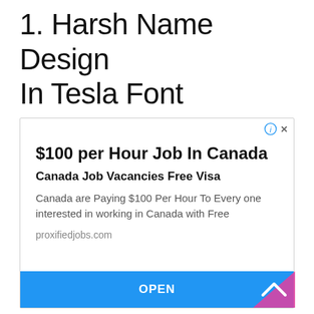1. Harsh Name Design In Tesla Font
[Figure (screenshot): Advertisement box with headline '$100 per Hour Job In Canada', subheadline 'Canada Job Vacancies Free Visa', body text 'Canada are Paying $100 Per Hour To Every one interested in working in Canada with Free', URL 'proxifiedjobs.com', and a blue OPEN button at the bottom. Info and close icons in the top right corner.]